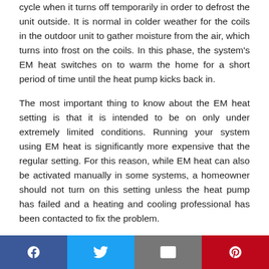cycle when it turns off temporarily in order to defrost the unit outside. It is normal in colder weather for the coils in the outdoor unit to gather moisture from the air, which turns into frost on the coils. In this phase, the system's EM heat switches on to warm the home for a short period of time until the heat pump kicks back in.
The most important thing to know about the EM heat setting is that it is intended to be on only under extremely limited conditions. Running your system using EM heat is significantly more expensive that the regular setting. For this reason, while EM heat can also be activated manually in some systems, a homeowner should not turn on this setting unless the heat pump has failed and a heating and cooling professional has been contacted to fix the problem.
There are many questions homeowners have about utilizing EM heat, as it is not a feature that is used frequently. In this
Social sharing bar: Facebook, Twitter, Email, Pinterest